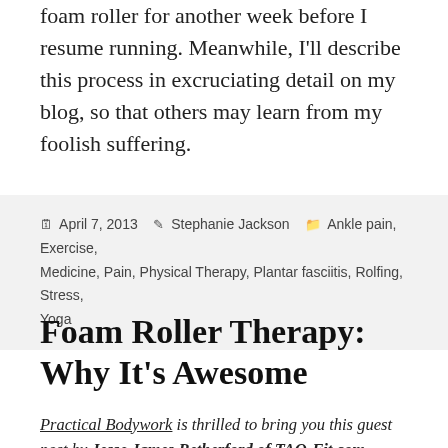foam roller for another week before I resume running. Meanwhile, I'll describe this process in excruciating detail on my blog, so that others may learn from my foolish suffering.
April 7, 2013  Stephanie Jackson  Ankle pain, Exercise, Medicine, Pain, Physical Therapy, Plantar fasciitis, Rolfing, Stress, Yoga
Foam Roller Therapy: Why It's Awesome
Practical Bodywork is thrilled to bring you this guest post by Jesse James Retherford of TAO-Fit.com.
Anyone who knows me is aware that I am a huge